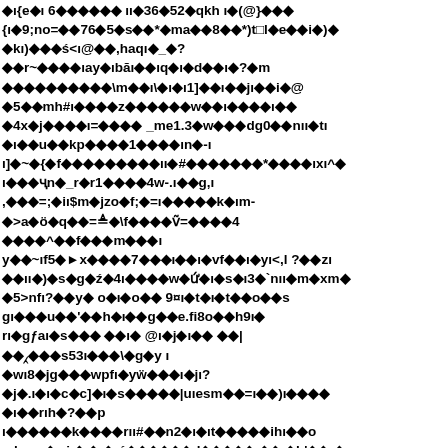Corrupted/encoded binary text content with mixed symbols, diamonds, and garbled characters representing an unreadable document page